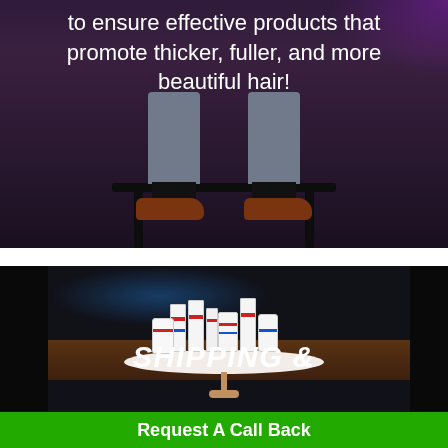to ensure effective products that promote thicker, fuller, and more beautiful hair!
[Figure (photo): Seated person's lower body with grey pants and brown shoes on a black stool]
[Figure (photo): Hair care product bottles and containers displayed on a round white table with rose gold legs, set against a TV studio background]
SHIPPING &
Request A Call Back